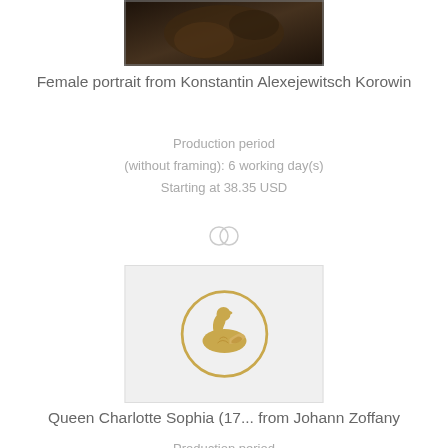[Figure (photo): Partial view of a dark oil painting, cropped at top — female portrait attributed to Konstantin Alexejewitsch Korowin]
Female portrait from Konstantin Alexejewitsch Korowin
Production period
(without framing): 6 working day(s)
Starting at 38.35 USD
[Figure (logo): Two interlinked circles icon (divider/separator)]
[Figure (logo): Light grey rectangular card with a gold swan logo in the center — placeholder for Queen Charlotte Sophia painting]
Queen Charlotte Sophia (17... from Johann Zoffany
Production period
(without framing): 20 working day(s)
Starting at 38.35 USD
[Figure (logo): Two interlinked circles icon (divider/separator)]